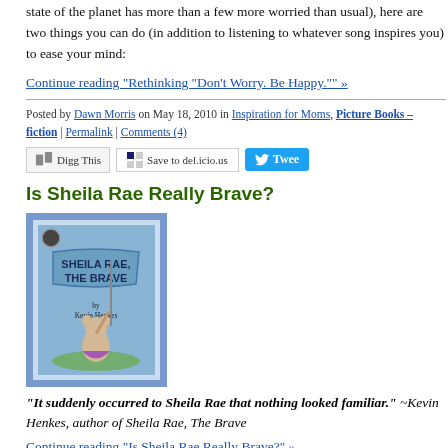state of the planet has more than a few more worried than usual), here are two things you can do (in addition to listening to whatever song inspires you) to ease your mind:
Continue reading "Rethinking "Don't Worry. Be Happy."" »
Posted by Dawn Morris on May 18, 2010 in Inspiration for Moms, Picture Books – fiction | Permalink | Comments (4)
[Figure (screenshot): Social sharing buttons: Digg This, Save to del.icio.us, Tweet]
Is Sheila Rae Really Brave?
[Figure (illustration): Book cover of 'Sheila Rae, The Brave' by Kevin Henkes, showing a mouse character holding a banner]
"It suddenly occurred to Sheila Rae that nothing looked familiar." ~Kevin Henkes, author of Sheila Rae, The Brave
Continue reading "Is Sheila Rae Really Brave?" »